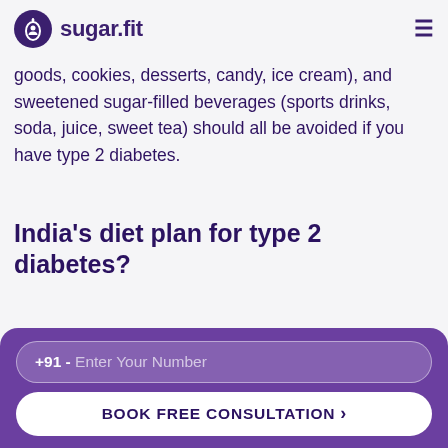sugar.fit
goods, cookies, desserts, candy, ice cream), and sweetened sugar-filled beverages (sports drinks, soda, juice, sweet tea) should all be avoided if you have type 2 diabetes.
India's diet plan for type 2 diabetes?
Type 2 diabetes wherein the body resists insulin requires a diabetic person to follow a good diet. It is a common myth that Indian diet plans are not good for
+91 - Enter Your Number
BOOK FREE CONSULTATION >